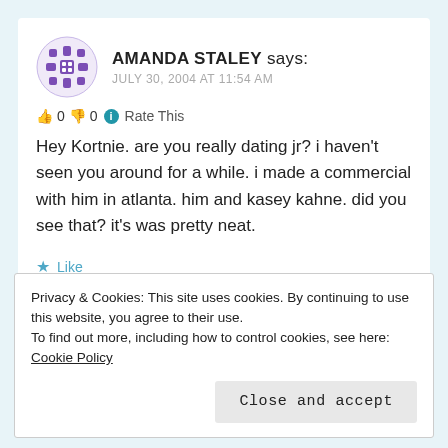AMANDA STALEY says:
JULY 30, 2004 AT 11:54 AM
👍 0 👎 0 ℹ️ Rate This
Hey Kortnie. are you really dating jr? i haven't seen you around for a while. i made a commercial with him in atlanta. him and kasey kahne. did you see that? it's was pretty neat.
★ Like
LOG IN TO REPLY
Privacy & Cookies: This site uses cookies. By continuing to use this website, you agree to their use.
To find out more, including how to control cookies, see here: Cookie Policy
Close and accept